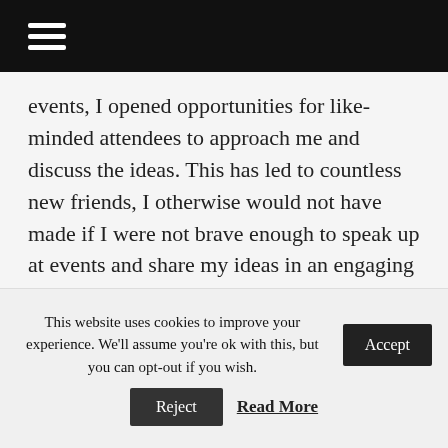≡
events, I opened opportunities for like-minded attendees to approach me and discuss the ideas. This has led to countless new friends, I otherwise would not have made if I were not brave enough to speak up at events and share my ideas in an engaging way.
It is good to keep in mind that when speaking at any event, it is essential that you try to understand your audience and use effective techniques such as humour, if appropriate, to share your ideas. These techniques can be
This website uses cookies to improve your experience. We'll assume you're ok with this, but you can opt-out if you wish.
Accept
Reject
Read More